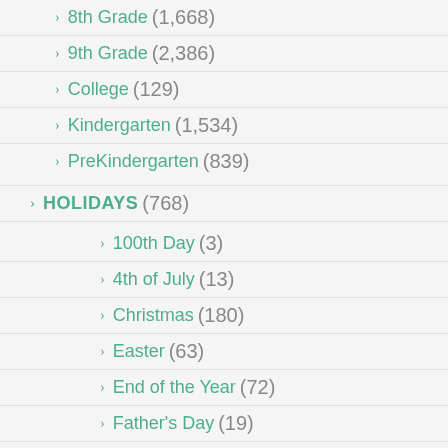8th Grade (1,668)
9th Grade (2,386)
College (129)
Kindergarten (1,534)
PreKindergarten (839)
HOLIDAYS (768)
100th Day (3)
4th of July (13)
Christmas (180)
Easter (63)
End of the Year (72)
Father's Day (19)
Flag Day (4)
Halloween (113)
Martin Luther King, Jr. (22)
Memorial Day (14)